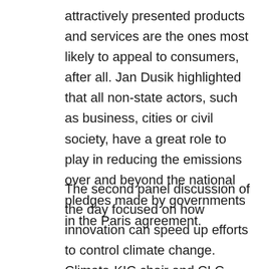attractively presented products and services are the ones most likely to appeal to consumers, after all. Jan Dusik highlighted that all non-state actors, such as business, cities or civil society, have a great role to play in reducing the emissions over and beyond the national pledges made by governments in the Paris agreement.
The second panel discussion of the day focused on how innovation can speed up efforts to control climate change. Climate-KIC chair and CLC member Anders Wijkman used his opening remarks to make an excellent case for why speed is now of the essence. If